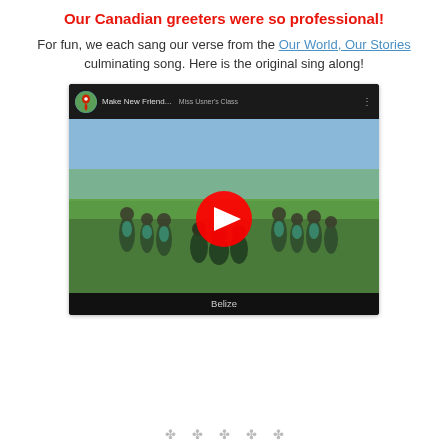Our Canadian greeters were so professional!
For fun, we each sang our verse from the Our World, Our Stories culminating song. Here is the original sing along!
[Figure (screenshot): Embedded YouTube video screenshot showing a group of school children outdoors with a YouTube play button overlay. Video title reads 'Make New Friend...' with 'Miss Usner's Class' subtitle. Caption below reads 'Belize'.]